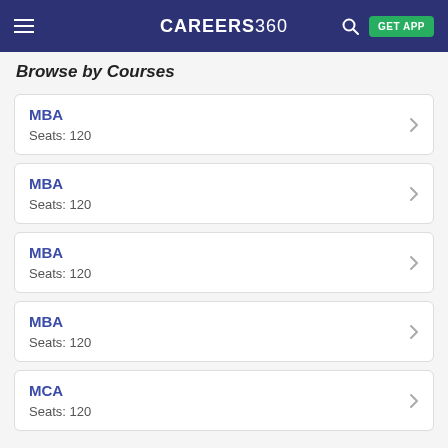CAREERS360
Browse by Courses
MBA
Seats: 120
MBA
Seats: 120
MBA
Seats: 120
MBA
Seats: 120
MCA
Seats: 120